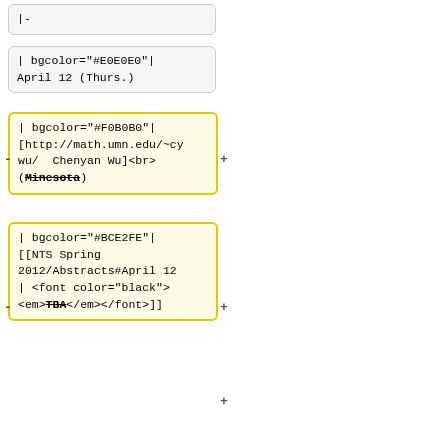|-
|-
| bgcolor="#E0E0E0"|
April 12 (Thurs.)
| bgcolor="#E0E0E0"|
April 12 (Thurs.)
| bgcolor="#F0B0B0"|
[http://math.umn.edu/~cywu/  Chenyan Wu]<br>
(Minesota)
| bgcolor="#F0B0B0"|
[http://math.umn.edu/~cywu/  Chenyan Wu]<br>
(Minnesota)
| bgcolor="#BCE2FE"|
[[NTS Spring
2012/Abstracts#April 12
| <font color="black">
<em>TBA</em></font>]]
| bgcolor="#BCE2FE"|
[[NTS Spring
2012/Abstracts#April 12
| <font color="black">
<em>Rallis inner product formula for theta lifts from metaplectic groups to orthogonal groups</em></font>]].
.|--
| bgcolor="#E0E0E0"|